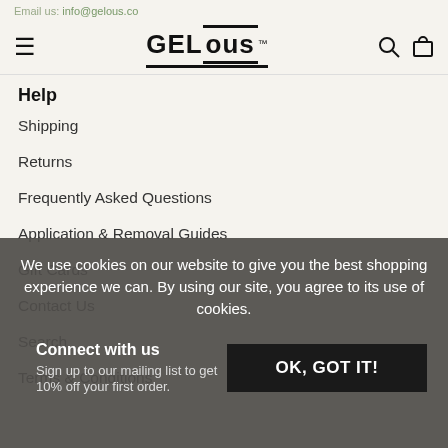Email us: info@gelous.co
[Figure (logo): GELous brand logo with hamburger menu icon, search icon, and cart icon]
Help
Shipping
Returns
Frequently Asked Questions
Application & Removal Guides
Gift Cards
Contact Us
Search
Terms & Conditions
Terms of Service
Refund policy
We use cookies on our website to give you the best shopping experience we can. By using our site, you agree to its use of cookies.
OK, GOT IT!
Connect with us
Sign up to our mailing list to get 10% off your first order.